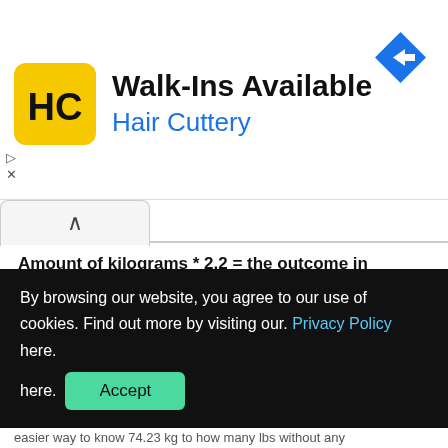[Figure (logo): Hair Cuttery advertisement banner with yellow HC logo, title 'Walk-Ins Available', subtitle 'Hair Cuttery', and a blue navigation arrow icon]
Amount of kilograms * 2.2 = the outcome in pounds
As you can see, this version is simpler. It could be better solution if you want to make a conversion of 74.23 kilogram to pounds in fast way, for instance, during shopping. You only need to remember that final outcome will be not so exact.
By browsing our website, you agree to our use of cookies. Find out more by visiting our. Privacy Policy here. Accept